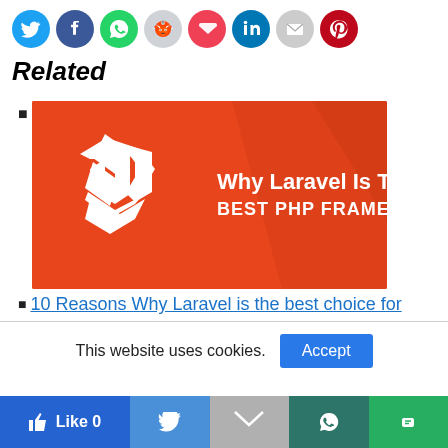[Figure (infographic): Row of social sharing icon buttons: Twitter (blue), Facebook (blue), WhatsApp (green), Reddit (light gray), Pocket (red), LinkedIn (blue), Email (gray), Pinterest (red)]
Related
[image: Why Laravel Is The BEST PHP FRAMEWORK]
10 Reasons Why Laravel is the best choice for
This website uses cookies.  Accept
[Figure (infographic): Bottom share bar with Like 0, Twitter, Gmail, WhatsApp, Line buttons]